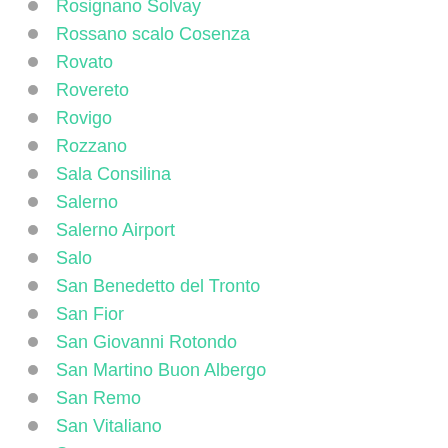Rosignano Solvay
Rossano scalo Cosenza
Rovato
Rovereto
Rovigo
Rozzano
Sala Consilina
Salerno
Salerno Airport
Salo
San Benedetto del Tronto
San Fior
San Giovanni Rotondo
San Martino Buon Albergo
San Remo
San Vitaliano
Sanremo